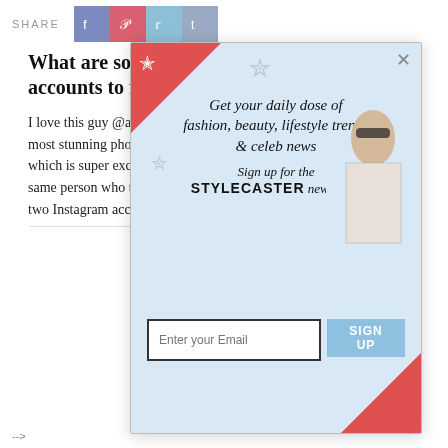SHARE [social icons: facebook, pinterest, twitter, tumblr]
What are some of your favorite social media accounts to follow?
I love this guy @arnold_daniel. He's a photographer and takes the most stunning photos of nature and other things. He also follows me which is super exciting. I look at them for inspiration. He's also the same person who takes the most gorgeous portraits. Those are the two Instagram accounts I follow most consistently.
[Figure (screenshot): StyleCaster newsletter signup popup overlay with email input and SIGN UP button]
[Figure (photo): Advertisement strip showing Death of the Dollar book covers in a dark/fiery background]
-->